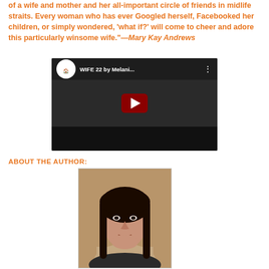of a wife and mother and her all-important circle of friends in midlife straits. Every woman who has ever Googled herself, Facebooked her children, or simply wondered, 'what if?' will come to cheer and adore this particularly winsome wife."—Mary Kay Andrews
[Figure (screenshot): YouTube video thumbnail for 'WIFE 22 by Melani...' showing book cover and YouTube play button]
ABOUT THE AUTHOR:
[Figure (photo): Author photo: woman with long dark hair, facing camera, professional headshot]